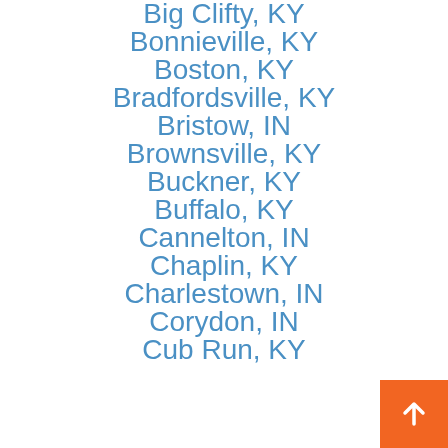Big Clifty, KY
Bonnieville, KY
Boston, KY
Bradfordsville, KY
Bristow, IN
Brownsville, KY
Buckner, KY
Buffalo, KY
Cannelton, IN
Chaplin, KY
Charlestown, IN
Corydon, IN
Cub Run, KY